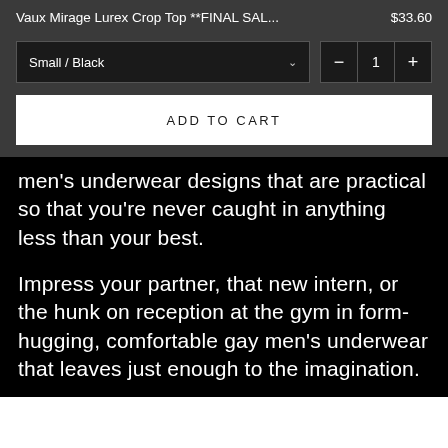Vaux Mirage Lurex Crop Top **FINAL SAL...   $33.60
Small / Black   −  1  +
ADD TO CART
men's underwear designs that are practical so that you're never caught in anything less than your best.
Impress your partner, that new intern, or the hunk on reception at the gym in form-hugging, comfortable gay men's underwear that leaves just enough to the imagination.